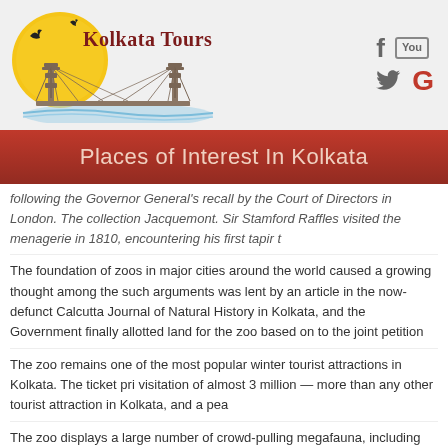[Figure (logo): Kolkata Tours logo with Howrah Bridge illustration and golden sun with birds, text 'Kolkata Tours' in dark red serif font]
[Figure (infographic): Social media icons: Facebook (f), YouTube (You), Twitter bird, Google (G)]
Places of Interest In Kolkata
following the Governor General's recall by the Court of Directors in London. The collection Jacquemont. Sir Stamford Raffles visited the menagerie in 1810, encountering his first tapir t
The foundation of zoos in major cities around the world caused a growing thought among the such arguments was lent by an article in the now-defunct Calcutta Journal of Natural History in Kolkata, and the Government finally allotted land for the zoo based on to the joint petition
The zoo remains one of the most popular winter tourist attractions in Kolkata. The ticket pri visitation of almost 3 million — more than any other tourist attraction in Kolkata, and a pea
The zoo displays a large number of crowd-pulling megafauna, including the royal Bengal emu, dromedary camel and Indian elephant. Previously, other megafauna like the Panthera
The zoo sports a large collection of attractive birds, including some threatened species - lar hornbills; colourful game birds like the golden pheasant, Lady Amherst's pheasant and Swi